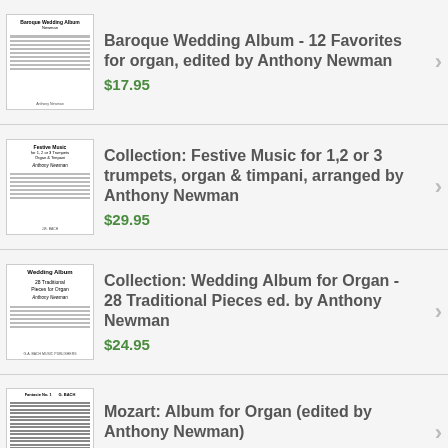Baroque Wedding Album - 12 Favorites for organ, edited by Anthony Newman $17.95
Collection: Festive Music for 1,2 or 3 trumpets, organ & timpani, arranged by Anthony Newman $29.95
Collection: Wedding Album for Organ - 28 Traditional Pieces ed. by Anthony Newman $24.95
Mozart: Album for Organ (edited by Anthony Newman) $19.95